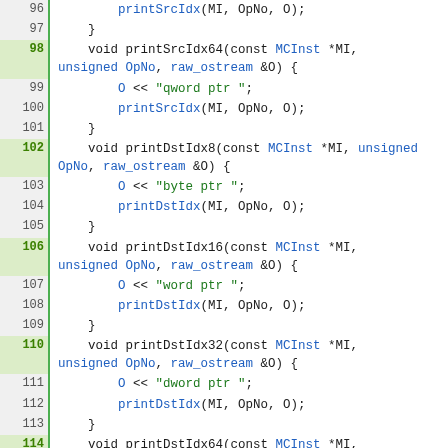[Figure (screenshot): Source code screenshot showing C++ function definitions for printSrcIdx64, printDstIdx8, printDstIdx16, printDstIdx32, printDstIdx64, printMemOffs8, and printMemOffs16, with line numbers 96-122 displayed in a code editor with green line highlights on function definition lines.]